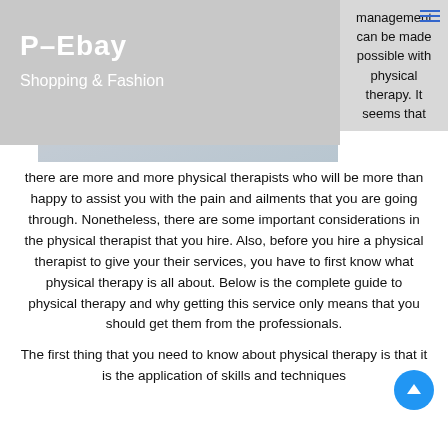P-Ebay
Shopping & Fashion
[Figure (photo): A photograph showing hands performing physical therapy on a patient, with a light blue/grey background.]
management can be made possible with physical therapy. It seems that there are more and more physical therapists who will be more than happy to assist you with the pain and ailments that you are going through. Nonetheless, there are some important considerations in the physical therapist that you hire. Also, before you hire a physical therapist to give your their services, you have to first know what physical therapy is all about. Below is the complete guide to physical therapy and why getting this service only means that you should get them from the professionals.
The first thing that you need to know about physical therapy is that it is the application of skills and techniques